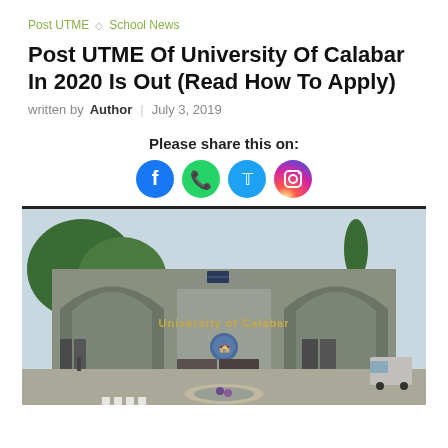Post UTME  ◇  School News
Post UTME Of University Of Calabar In 2020 Is Out (Read How To Apply)
written by Author  |  July 3, 2019
Please share this on:
[Figure (infographic): Four social media share buttons: Facebook (blue circle), WhatsApp (green circle), Twitter (blue circle), Instagram (gradient circle)]
[Figure (photo): Photo of the University of Calabar entrance gate, a large stone arch structure with the university name and crest visible, trees in background, vehicles and people visible]